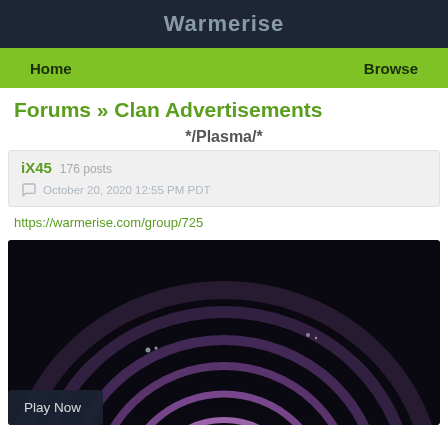Warmerise
Home    Browse
Forums » Clan Advertisements
*/Plasma/*
iX45  176 posts
October 20, 2020 12:55 PM PDT
https://warmerise.com/group/725
[Figure (photo): Purple plasma glowing arc/ring image on dark background, representing the Plasma clan banner. A 'Play Now' button overlay appears in the bottom-left corner.]